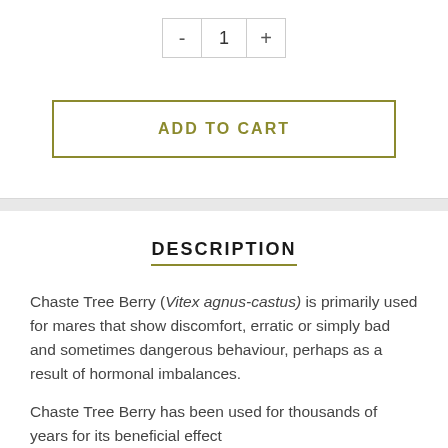[Figure (other): Quantity selector control with minus button, number 1, and plus button]
ADD TO CART
DESCRIPTION
Chaste Tree Berry (Vitex agnus-castus) is primarily used for mares that show discomfort, erratic or simply bad and sometimes dangerous behaviour, perhaps as a result of hormonal imbalances.
Chaste Tree Berry has been used for thousands of years for its beneficial effect